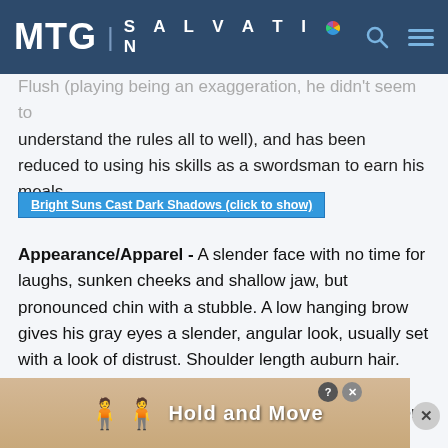MTG | SALVATION
Flush (playing being an exaggeration, he didn't seem to understand the rules all to well), and has been reduced to using his skills as a swordsman to earn his meals.
Bright Suns Cast Dark Shadows (click to show)
Appearance/Apparel - A slender face with no time for laughs, sunken cheeks and shallow jaw, but pronounced chin with a stubble. A low hanging brow gives his gray eyes a slender, angular look, usually set with a look of distrust. Shoulder length auburn hair. Handsome, but void of any boyish looks. He has a muscular build, clearly the product of a tested warrior trained by the elite, and well toned for athletic feats. He dresses in matching tunic and trousers of dark reds, once extravagant, but that time had passed. Above this he w... fa...
[Figure (screenshot): Advertisement overlay showing 'Hold and Move' with figures icon and close buttons]